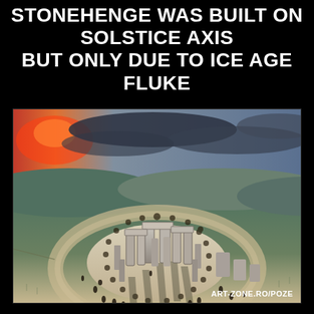STONEHENGE WAS BUILT ON SOLSTICE AXIS BUT ONLY DUE TO ICE AGE FLUKE
[Figure (illustration): Artistic illustration/painting of Stonehenge from aerial perspective, showing the circular stone monument with people gathered around it. The sky shows a dramatic red and orange sunset/sunrise on the left, with dark clouds. The surrounding landscape shows rolling green hills.]
ART-ZONE.RO/POZE